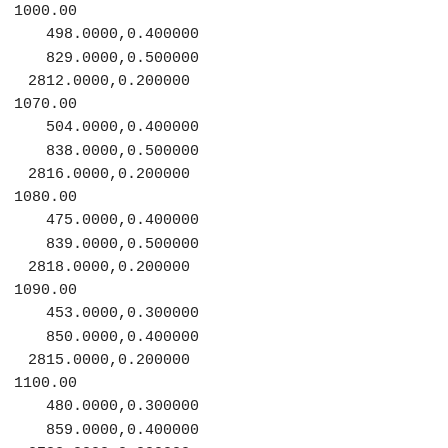1000.00
498.0000,0.400000
829.0000,0.500000
2812.0000,0.200000
1070.00
504.0000,0.400000
838.0000,0.500000
2816.0000,0.200000
1080.00
475.0000,0.400000
839.0000,0.500000
2818.0000,0.200000
1090.00
453.0000,0.300000
850.0000,0.400000
2815.0000,0.200000
1100.00
480.0000,0.300000
859.0000,0.400000
2783.0000,0.000000